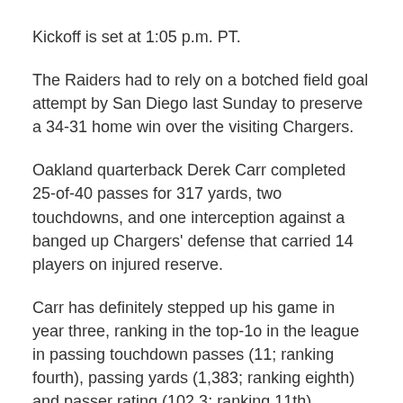Kickoff is set at 1:05 p.m. PT.
The Raiders had to rely on a botched field goal attempt by San Diego last Sunday to preserve a 34-31 home win over the visiting Chargers.
Oakland quarterback Derek Carr completed 25-of-40 passes for 317 yards, two touchdowns, and one interception against a banged up Chargers' defense that carried 14 players on injured reserve.
Carr has definitely stepped up his game in year three, ranking in the top-10 in the league in passing touchdown passes (11; ranking fourth), passing yards (1,383; ranking eighth) and passer rating (102.3; ranking 11th) through the first five games this season.
Carr is engineering the NFL's fourth ranked offense, averaging 28.4 points per game.